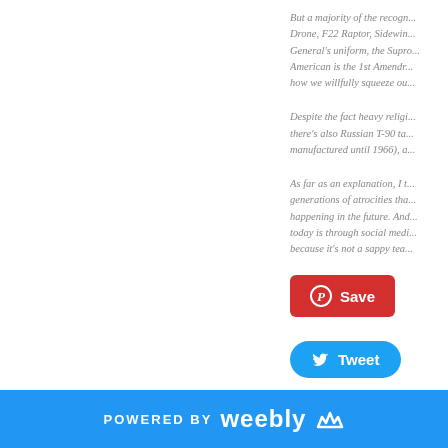But a majority of the recogn... Drone, F22 Raptor, Sidewin... General's uniform, the Supro... American is the 1st Amendr... how we willfully squeeze ou...
Despite the fact heavy religi... there's also Russian T-90 ta... manufactured until 1966), a...
As far as an explanation, I t... generations of atrocities tha... happening in the future. And... today is through social medi... because it's not a sappy tea...
[Figure (other): Pinterest Save button - red rounded rectangle with Pinterest logo and Save text]
[Figure (other): Twitter Tweet button - blue pill-shaped button with bird icon and Tweet text]
0 Comments
POWERED BY weebly